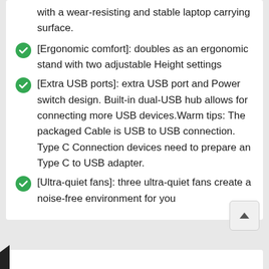with a wear-resisting and stable laptop carrying surface.
[Ergonomic comfort]: doubles as an ergonomic stand with two adjustable Height settings
[Extra USB ports]: extra USB port and Power switch design. Built-in dual-USB hub allows for connecting more USB devices.Warm tips: The packaged Cable is USB to USB connection. Type C Connection devices need to prepare an Type C to USB adapter.
[Ultra-quiet fans]: three ultra-quiet fans create a noise-free environment for you